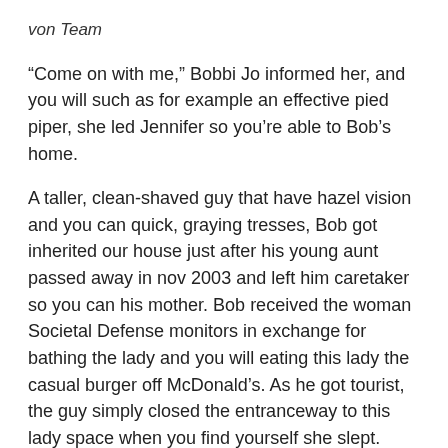von Team
“Come on with me,” Bobbi Jo informed her, and you will such as for example an effective pied piper, she led Jennifer so you’re able to Bob’s home.
A taller, clean-shaved guy that have hazel vision and you can quick, graying tresses, Bob got inherited our house just after his young aunt passed away in nov 2003 and left him caretaker so you can his mother. Bob received the woman Societal Defense monitors in exchange for bathing the lady and you will eating this lady the casual burger off McDonald’s. As he got tourist, the guy simply closed the entranceway to this lady space when you find yourself she slept.
He and you will Bobbi Jo got a laid-back arrangement. Reciprocally, Bobbi Jo sought out and you may solicited ladies, got a sugar daddy in